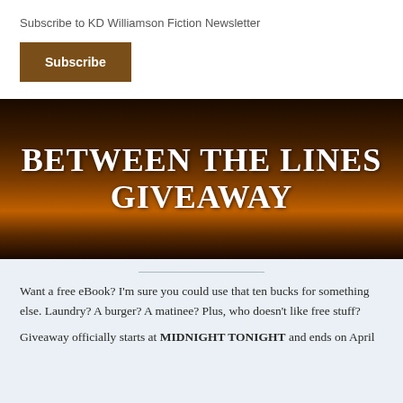×
Subscribe to KD Williamson Fiction Newsletter
Subscribe
BETWEEN THE LINES GIVEAWAY
Want a free eBook? I'm sure you could use that ten bucks for something else. Laundry? A burger? A matinee? Plus, who doesn't like free stuff?
Giveaway officially starts at MIDNIGHT TONIGHT and ends on April